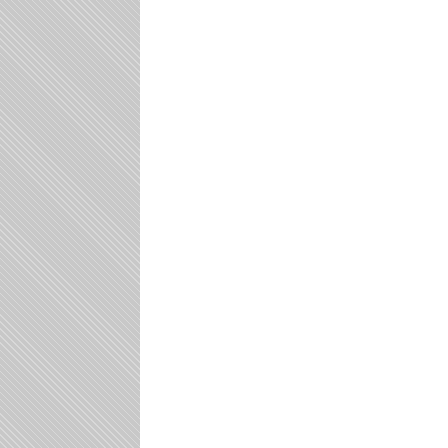going on told her to make out a loan agreement with me and if the car changed hands she would immediately demand $1000 loan to be repaid. That was the only way I